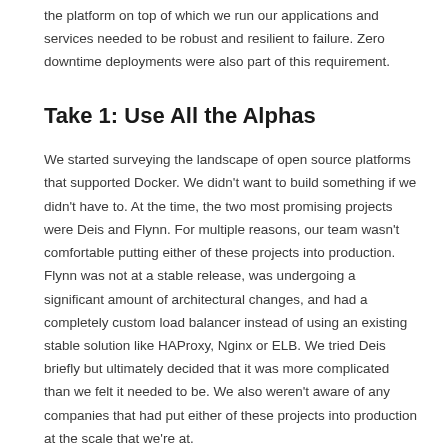the platform on top of which we run our applications and services needed to be robust and resilient to failure. Zero downtime deployments were also part of this requirement.
Take 1: Use All the Alphas
We started surveying the landscape of open source platforms that supported Docker. We didn't want to build something if we didn't have to. At the time, the two most promising projects were Deis and Flynn. For multiple reasons, our team wasn't comfortable putting either of these projects into production. Flynn was not at a stable release, was undergoing a significant amount of architectural changes, and had a completely custom load balancer instead of using an existing stable solution like HAProxy, Nginx or ELB. We tried Deis briefly but ultimately decided that it was more complicated than we felt it needed to be. We also weren't aware of any companies that had put either of these projects into production at the scale that we're at.